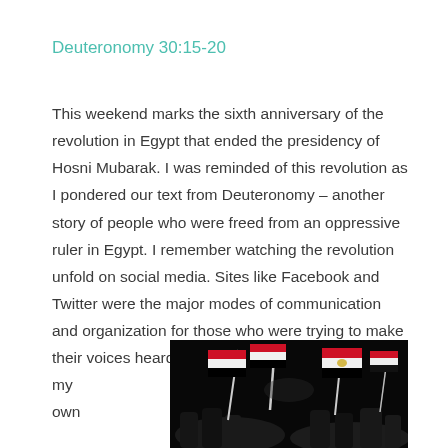Deuteronomy 30:15-20
This weekend marks the sixth anniversary of the revolution in Egypt that ended the presidency of Hosni Mubarak. I was reminded of this revolution as I pondered our text from Deuteronomy – another story of people who were freed from an oppressive ruler in Egypt. I remember watching the revolution unfold on social media. Sites like Facebook and Twitter were the major modes of communication and organization for those who were trying to make their voices heard. From my own
[Figure (photo): Night-time crowd scene with people waving Egyptian flags with red, white, and black stripes against a dark background.]